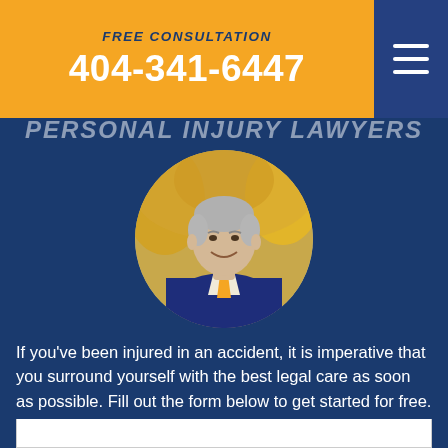FREE CONSULTATION
404-341-6447
PERSONAL INJURY LAWYERS
[Figure (photo): Circular headshot of a middle-aged male lawyer with silver hair, wearing a dark navy suit, light shirt, and orange tie, with a blurred outdoor background]
If you've been injured in an accident, it is imperative that you surround yourself with the best legal care as soon as possible. Fill out the form below to get started for free.
First Name*
Last Name*
Email*